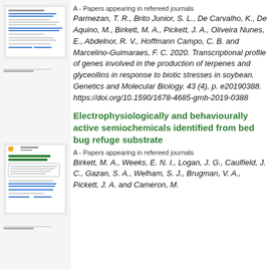[Figure (screenshot): Thumbnail of a document page showing a publication record with blue underlined links and text lines]
A - Papers appearing in refereed journals
Parmezan, T. R., Brito Junior, S. L., De Carvalho, K., De Aquino, M., Birkett, M. A., Pickett, J. A., Oliveira Nunes, E., Abdelnor, R. V., Hoffmann Campo, C. B. and Marcelino-Guimaraes, F. C. 2020. Transcriptional profile of genes involved in the production of terpenes and glyceollins in response to biotic stresses in soybean. Genetics and Molecular Biology. 43 (4), p. e20190388. https://doi.org/10.1590/1678-4685-gmb-2019-0388
[Figure (screenshot): Thumbnail of a document page showing publication records with blue underlined links and text lines]
Electrophysiologically and behaviourally active semiochemicals identified from bed bug refuge substrate
A - Papers appearing in refereed journals
Birkett, M. A., Weeks, E. N. I., Logan, J. G., Caulfield, J. C., Gazan, S. A., Welham, S. J., Brugman, V. A., Pickett, J. A. and Cameron, M.